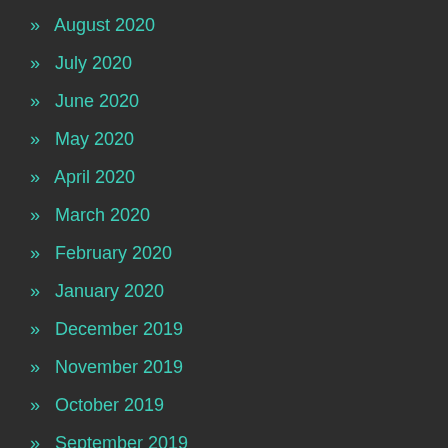» August 2020
» July 2020
» June 2020
» May 2020
» April 2020
» March 2020
» February 2020
» January 2020
» December 2019
» November 2019
» October 2019
» September 2019
» June 2019
» May 2019